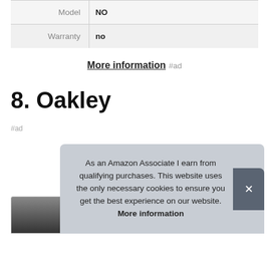| Model | NO |
| Warranty | no |
More information #ad
8. Oakley
#ad
As an Amazon Associate I earn from qualifying purchases. This website uses the only necessary cookies to ensure you get the best experience on our website. More information